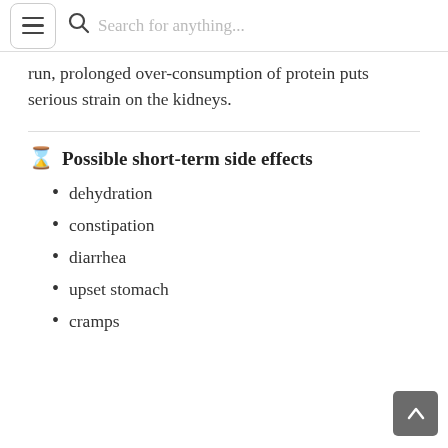Search for anything...
run, prolonged over-consumption of protein puts serious strain on the kidneys.
Possible short-term side effects
dehydration
constipation
diarrhea
upset stomach
cramps